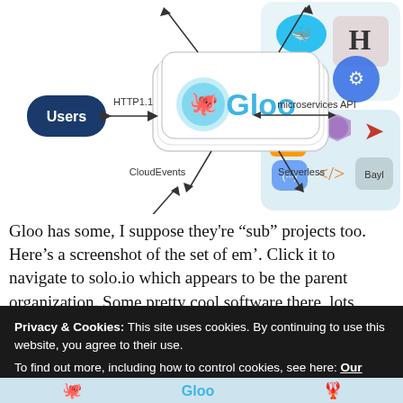[Figure (infographic): Architecture diagram showing Gloo API gateway in the center (with a cartoon octopus logo), connected to Users (via HTTP1.1), Event Sources (via CloudEvents), microservices API, and Serverless endpoints. Docker, HashiCorp, and Kubernetes logos appear in the top-right and middle-right panels.]
Gloo has some, I suppose they’re “sub” projects too. Here’s a screenshot of the set of em’. Click it to navigate to solo.io which appears to be the parent organization. Some pretty cool software there, lots
Privacy & Cookies: This site uses cookies. By continuing to use this website, you agree to their use.
To find out more, including how to control cookies, see here: Our Cookie Policy